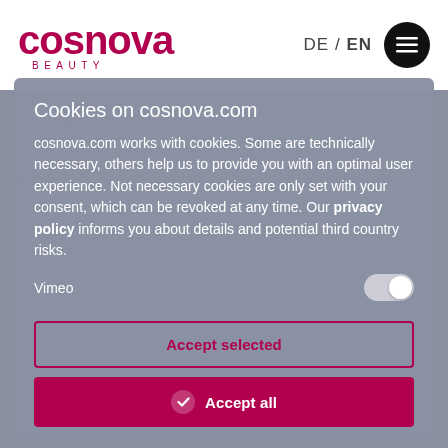[Figure (logo): Cosnova Beauty logo in dark red/burgundy color]
DE / EN
Cookies on cosnova.com
cosnova.com works with cookies. Some are technically necessary, others help us to provide you with an optimal user experience. Not necessary cookies are only set with your consent, which can be revoked at any time. Our privacy policy informs you about details and potential third country risks.
Vimeo
Accept selected
Accept all